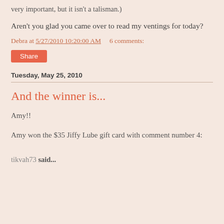very important, but it isn't a talisman.)
Aren't you glad you came over to read my ventings for today?
Debra at 5/27/2010 10:20:00 AM   6 comments:
Share
Tuesday, May 25, 2010
And the winner is...
Amy!!
Amy won the $35 Jiffy Lube gift card with comment number 4:
tikvah73 said...